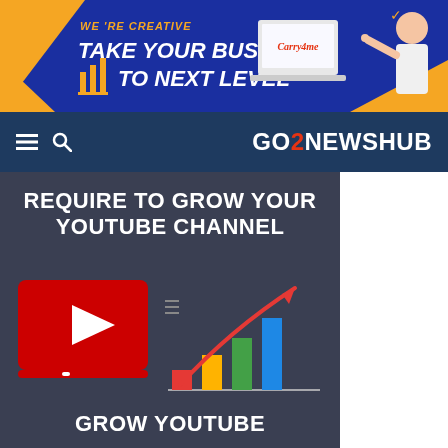[Figure (illustration): Banner advertisement for Carry4me business service. Blue background with orange triangles, bold italic text saying WE'RE CREATIVE / TAKE YOUR BUSINESS TO NEXT LEVEL, a bar chart icon, laptop showing Carry4me logo, and a man in white shirt pointing.]
GO2NEWSHUB
REQUIRE TO GROW YOUR YOUTUBE CHANNEL
[Figure (illustration): Illustration showing a red YouTube play button icon on a TV screen, beside a bar chart with red, yellow, green and blue bars and a red upward arrow indicating growth.]
GROW YOUTUBE